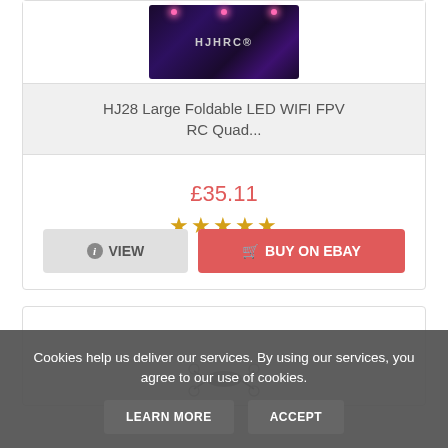[Figure (photo): Product image of HJ28 drone with HJHRC logo and pink LED lights on dark background]
HJ28 Large Foldable LED WIFI FPV RC Quad...
£35.11
[Figure (other): 5-star rating shown with gold stars]
VIEW
BUY ON EBAY
[Figure (photo): Partial product image of a second drone item, grey color, partially visible]
Cookies help us deliver our services. By using our services, you agree to our use of cookies.
LEARN MORE
ACCEPT